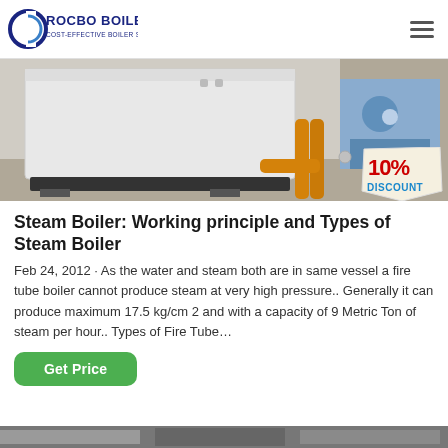ROCBO BOILER — COST-EFFECTIVE BOILER SUPPLIER
[Figure (photo): Industrial boiler unit with orange pipes in a facility room]
[Figure (other): 10% DISCOUNT badge overlay]
Steam Boiler: Working principle and Types of Steam Boiler
Feb 24, 2012 · As the water and steam both are in same vessel a fire tube boiler cannot produce steam at very high pressure.. Generally it can produce maximum 17.5 kg/cm 2 and with a capacity of 9 Metric Ton of steam per hour.. Types of Fire Tube…
Get Price
[Figure (photo): Partial view of another boiler image at the bottom of the page]